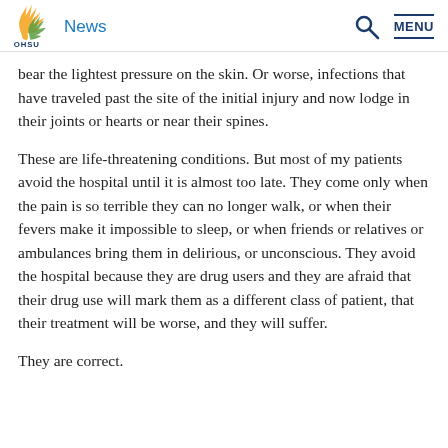News | OHSU
bear the lightest pressure on the skin. Or worse, infections that have traveled past the site of the initial injury and now lodge in their joints or hearts or near their spines.
These are life-threatening conditions. But most of my patients avoid the hospital until it is almost too late. They come only when the pain is so terrible they can no longer walk, or when their fevers make it impossible to sleep, or when friends or relatives or ambulances bring them in delirious, or unconscious. They avoid the hospital because they are drug users and they are afraid that their drug use will mark them as a different class of patient, that their treatment will be worse, and they will suffer.
They are correct.